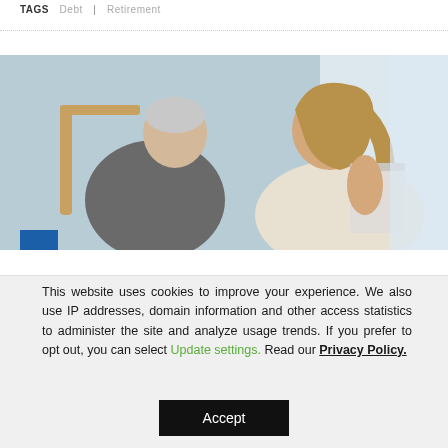TAGS  Debt  |  Retirement
[Figure (photo): A young woman smiling and talking to an elderly man seated in a chair, in a bright indoor setting. A blue square overlay is visible in the lower left of the image.]
This website uses cookies to improve your experience. We also use IP addresses, domain information and other access statistics to administer the site and analyze usage trends. If you prefer to opt out, you can select Update settings. Read our Privacy Policy.
Accept